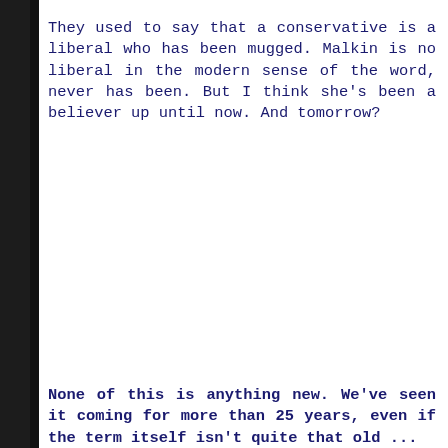They used to say that a conservative is a liberal who has been mugged. Malkin is no liberal in the modern sense of the word, never has been. But I think she's been a believer up until now. And tomorrow?
None of this is anything new. We've seen it coming for more than 25 years, even if the term itself isn't quite that old ...
[ 2004 ] We see the drift in this country, with the Patriot Act and its spawn at airports and in random searches of law-abiding citizens—all because our own overclass will not